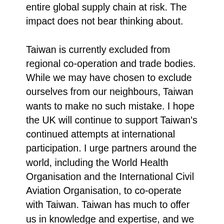entire global supply chain at risk. The impact does not bear thinking about.
Taiwan is currently excluded from regional co-operation and trade bodies. While we may have chosen to exclude ourselves from our neighbours, Taiwan wants to make no such mistake. I hope the UK will continue to support Taiwan's continued attempts at international participation. I urge partners around the world, including the World Health Organisation and the International Civil Aviation Organisation, to co-operate with Taiwan. Taiwan has much to offer us in knowledge and expertise, and we should not allow it to be stifled.
The United States remains unparalleled in its importance, guaranteeing Taiwanese independence, and we must stand shoulder to shoulder against intimidation. I look forward to continued ministerial engagement with Taiwan, and to us being able to learn as much as possible